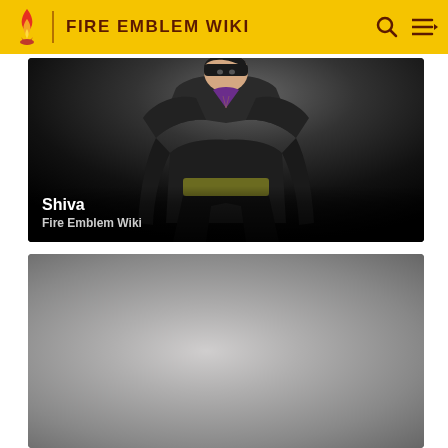FIRE EMBLEM WIKI
[Figure (illustration): Anime-style character illustration of Shiva from Fire Emblem — a tall figure wearing a dark black outfit with purple collar, olive sash around waist, standing against dark gradient background. White bold text 'Shiva' and grey text 'Fire Emblem Wiki' overlaid at bottom left.]
[Figure (illustration): Anime-style character illustration of a female character with short dark hair and white highlights, wearing a blue outfit with a red cape/cloak and holding a sword, against a light grey gradient background. A vertical line (sword blade) visible at right side.]